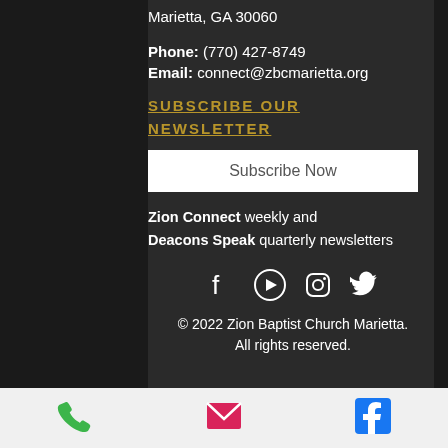Marietta, GA 30060
Phone: (770) 427-8749
Email: connect@zbcmarietta.org
SUBSCRIBE OUR NEWSLETTER
Subscribe Now
Zion Connect weekly and Deacons Speak quarterly newsletters
[Figure (other): Social media icons: Facebook, YouTube, Instagram, Twitter]
© 2022 Zion Baptist Church Marietta. All rights reserved.
[Figure (other): Mobile bottom navigation bar with phone, email, and Facebook icons]